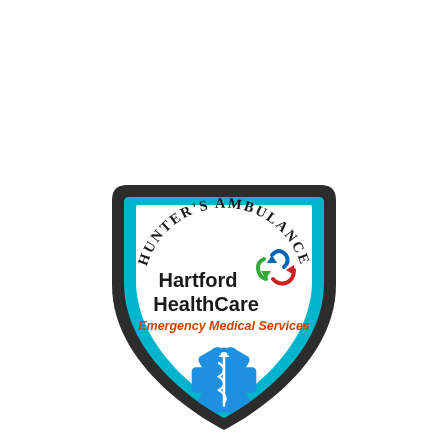[Figure (logo): Hunter's Ambulance / Hartford HealthCare Emergency Medical Services shield badge logo. Shield shape with dark border and cyan inner border. Text 'HUNTER'S AMBULANCE' arced along the top in dark serif font. Hartford HealthCare logo with colorful recycling-arrow icon. Text 'Emergency Medical Services' in orange. Blue Star of Life with rod of Asclepius at bottom.]